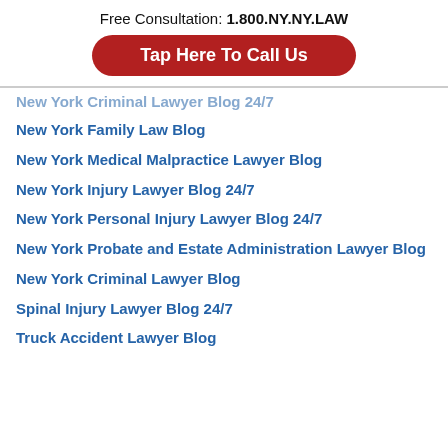Free Consultation: 1.800.NY.NY.LAW
[Figure (other): Red rounded button with white text: Tap Here To Call Us]
New York Criminal Lawyer Blog 24/7 (partially cropped)
New York Family Law Blog
New York Medical Malpractice Lawyer Blog
New York Injury Lawyer Blog 24/7
New York Personal Injury Lawyer Blog 24/7
New York Probate and Estate Administration Lawyer Blog
New York Criminal Lawyer Blog
Spinal Injury Lawyer Blog 24/7
Truck Accident Lawyer Blog (partially cropped)